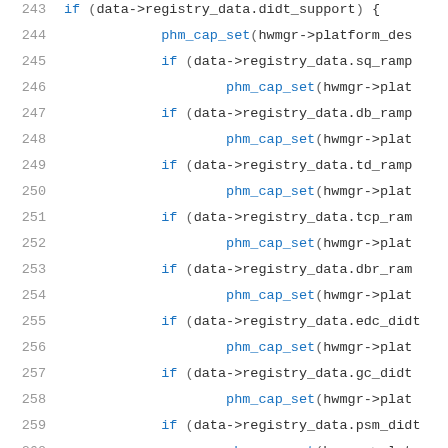Source code listing lines 243-264, showing C code with conditional registry data checks and phm_cap_set function calls.